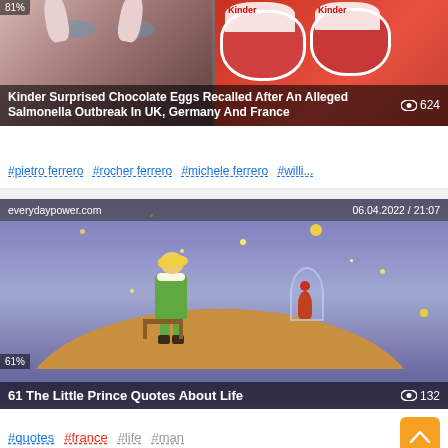[Figure (screenshot): News article thumbnail: Kinder Surprised Chocolate Eggs Recalled After An Alleged Salmonella Outbreak In UK, Germany And France. Shows girl with bunny ears on left, Kinder chocolate eggs on right. View count 624, 81% rating.]
#pietro ferrero #rocher ferrero #michele ferrero #willi...
[Figure (screenshot): Article thumbnail from everydaypower.com dated 06.04.2022 / 21:07. Shows Little Prince illustration sitting on asteroid looking at stars and rose. Title: 61 The Little Prince Quotes About Life. View count 132, 61% rating.]
#quotes #france #life #man
[Figure (photo): Partial thumbnail of another article at the bottom of the page, appears to show a dark nature/animal scene.]